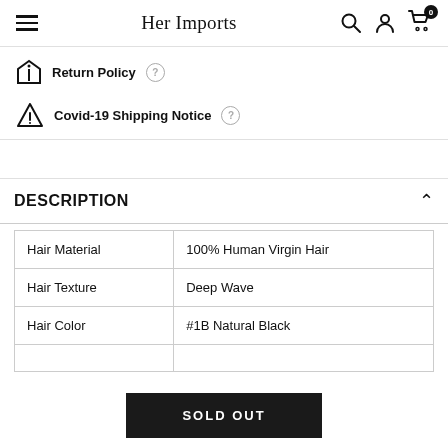Her Imports
Return Policy
Covid-19 Shipping Notice
DESCRIPTION
|  |  |
| --- | --- |
| Hair Material | 100% Human Virgin Hair |
| Hair Texture | Deep Wave |
| Hair Color | #1B Natural Black |